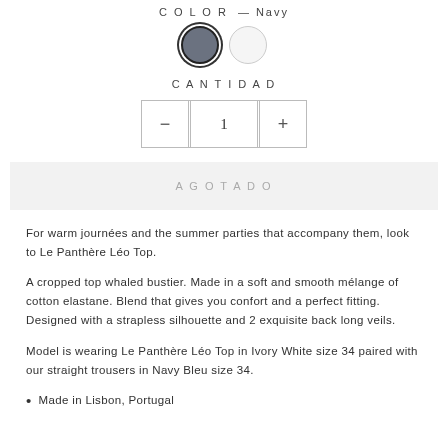COLOR — Navy
[Figure (other): Two color swatches: navy (selected, with dark border) and white/ivory circle]
CANTIDAD
[Figure (other): Quantity control with minus button, value 1, and plus button]
AGOTADO
For warm journées and the summer parties that accompany them, look to Le Panthère Léo Top.
A cropped top whaled bustier. Made in a soft and smooth mélange of cotton elastane. Blend that gives you confort and a perfect fitting. Designed with a strapless silhouette and 2 exquisite back long veils.
Model is wearing Le Panthère Léo Top in Ivory White size 34 paired with our straight trousers in Navy Bleu size 34.
Made in Lisbon, Portugal